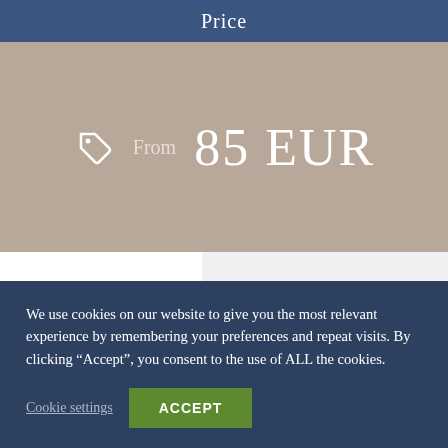Price
From 85 EUR
Enquiry Form
Full Name*
We use cookies on our website to give you the most relevant experience by remembering your preferences and repeat visits. By clicking “Accept”, you consent to the use of ALL the cookies.
Cookie settings
ACCEPT